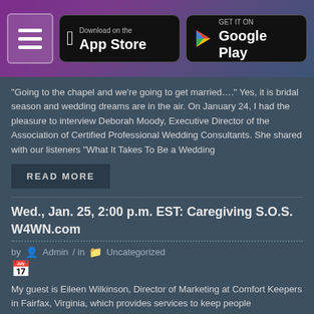App Store and Google Play download buttons with hamburger menu
"Going to the chapel and we're going to get married…." Yes, it is bridal season and wedding dreams are in the air.  On January 24, I had the pleasure to interview Deborah Moody, Executive Director of the Association of Certified Professional Wedding Consultants.  She shared with our listeners "What It Takes To Be a Wedding
READ MORE
Wed., Jan. 25, 2:00 p.m. EST: Caregiving S.O.S. W4WN.com
by Admin in Uncategorized
My guest is Eileen Wilkinson, Director of Marketing at Comfort Keepers in Fairfax, Virginia, which provides services to keep people independent in their homes such as: meal preparation, transportation, stimulating activities,